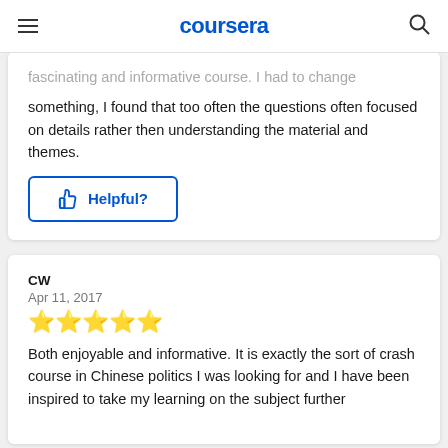coursera
fascinating and informative course. I had to change something, I found that too often the questions often focused on details rather then understanding the material and themes.
Helpful?
CW
Apr 11, 2017
★★★★★
Both enjoyable and informative. It is exactly the sort of crash course in Chinese politics I was looking for and I have been inspired to take my learning on the subject further